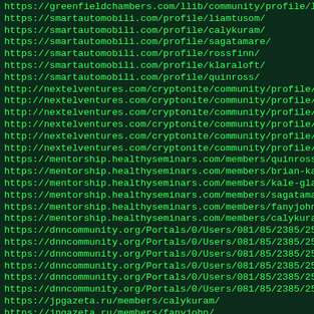https://greenfieldchambers.com/llib/community/profile/liamt
https://smartautomobili.com/profile/liamtusom/
https://smartautomobili.com/profile/calykuram/
https://smartautomobili.com/profile/sagatamare/
https://smartautomobili.com/profile/rossfinn/
https://smartautomobili.com/profile/klaraloft/
https://smartautomobili.com/profile/quinross/
http://nextelventures.com/cryptonite/community/profile/saga
http://nextelventures.com/cryptonite/community/profile/klar
http://nextelventures.com/cryptonite/community/profile/finn
http://nextelventures.com/cryptonite/community/profile/kale
http://nextelventures.com/cryptonite/community/profile/bria
http://nextelventures.com/cryptonite/community/profile/quin
https://mentorship.healthyseminars.com/members/quinross/
https://mentorship.healthyseminars.com/members/brian-kale/
https://mentorship.healthyseminars.com/members/kale-glassma
https://mentorship.healthyseminars.com/members/sagatamare/
https://mentorship.healthyseminars.com/members/fanyjohn/
https://mentorship.healthyseminars.com/members/calykuram/
https://dnncommunity.org/Portals/0/Users/081/85/2385/25%201
https://dnncommunity.org/Portals/0/Users/081/85/2385/25%202
https://dnncommunity.org/Portals/0/Users/081/85/2385/25%203
https://dnncommunity.org/Portals/0/Users/081/85/2385/25%204
https://dnncommunity.org/Portals/0/Users/081/85/2385/25%205
https://dnncommunity.org/Portals/0/Users/081/85/2385/25%206
https://jpgazeta.ru/members/calykuram/
https://jpgazeta.ru/members/fanyjohn/
https://jpgazeta.ru/members/klaraloft/
https://jpgazeta.ru/members/rossfinn/